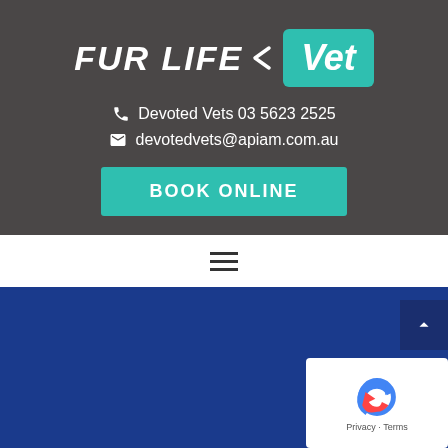[Figure (logo): Fur Life Vet logo — white italic bold text 'FUR LIFE' with a left-pointing arrow, followed by a teal rounded rectangle containing white italic bold 'Vet']
Devoted Vets 03 5623 2525
devotedvets@apiam.com.au
BOOK ONLINE
[Figure (other): Hamburger menu icon — three horizontal dark lines on white background]
[Figure (other): Deep blue section background filling lower portion of page]
[Figure (other): Scroll-to-top button with upward arrow on dark navy background, positioned top-right of blue section]
[Figure (other): reCAPTCHA widget showing the Google reCAPTCHA logo with 'Privacy - Terms' text below, white background]